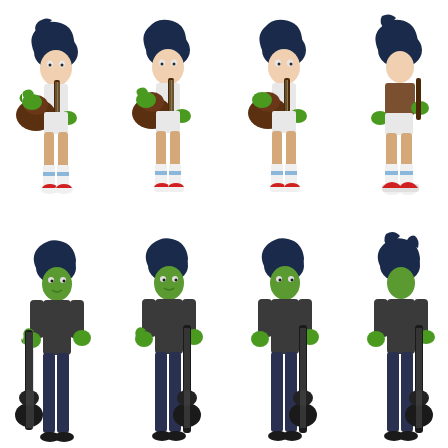[Figure (illustration): Eight 3D animated action figures shown from multiple angles arranged in two rows. Top row: Four views (front-left, front, front-right, back) of a female animated character with dark spiky hair, green hands, white shorts, white knee-high socks with blue accents, and red-and-white sneakers, holding a brown acoustic guitar with green hands. Bottom row: Four views (front-left, front, front-right, back) of a male animated character with dark hair, green skin/face, wearing a dark gray long-sleeve shirt and dark jeans, standing next to a black electric bass guitar. Both characters appear to be from the Gorillaz animated band universe.]